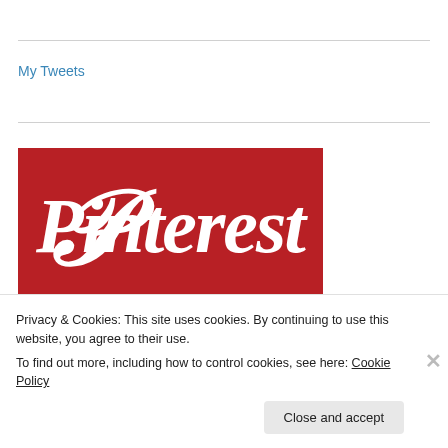My Tweets
[Figure (logo): Pinterest logo — white script text on dark red/crimson background]
[Figure (logo): Tumblr logo — dark navy blue stylized text, partially visible]
Privacy & Cookies: This site uses cookies. By continuing to use this website, you agree to their use.
To find out more, including how to control cookies, see here: Cookie Policy